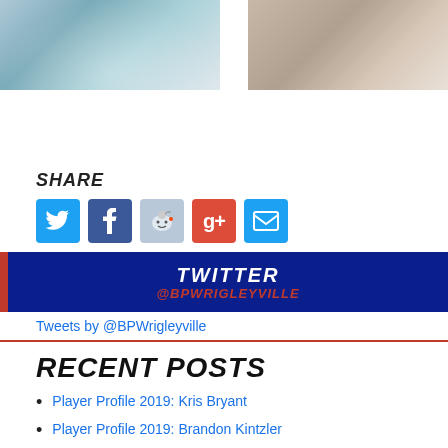[Figure (photo): Two sports player illustration images side by side, artistic painted style]
SHARE
[Figure (infographic): Social share buttons: Twitter (blue), Facebook (dark blue), Reddit (light blue), Google+ (red), Email (blue)]
[Figure (infographic): Twitter banner with TWITTER heading and @BPWRIGLEYVILLE handle on dark blue background with red left border]
Tweets by @BPWrigleyville
RECENT POSTS
Player Profile 2019: Kris Bryant
Player Profile 2019: Brandon Kintzler
Player Profile 2019: Brandon Morrow